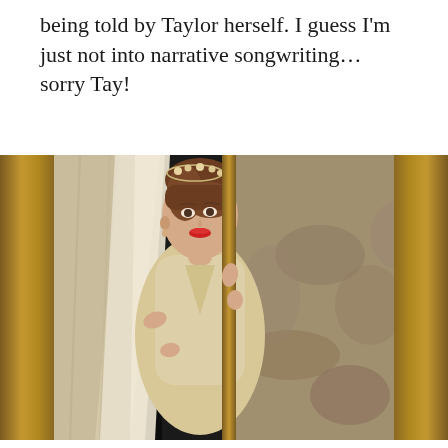being told by Taylor herself. I guess I'm just not into narrative songwriting… sorry Tay!
[Figure (photo): A woman in a cream/ivory lace dress wearing a floral headpiece, pulling open a curtain between two wooden frame panels, with a dark background on the left and a worn grey wall on the right.]